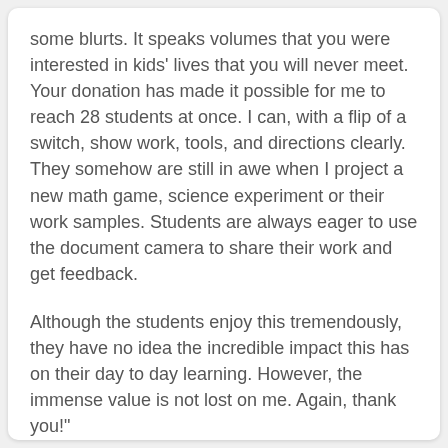some blurts. It speaks volumes that you were interested in kids' lives that you will never meet. Your donation has made it possible for me to reach 28 students at once. I can, with a flip of a switch, show work, tools, and directions clearly. They somehow are still in awe when I project a new math game, science experiment or their work samples. Students are always eager to use the document camera to share their work and get feedback.
Although the students enjoy this tremendously, they have no idea the incredible impact this has on their day to day learning. However, the immense value is not lost on me. Again, thank you!"
With gratitude,
Ms. Gilligan